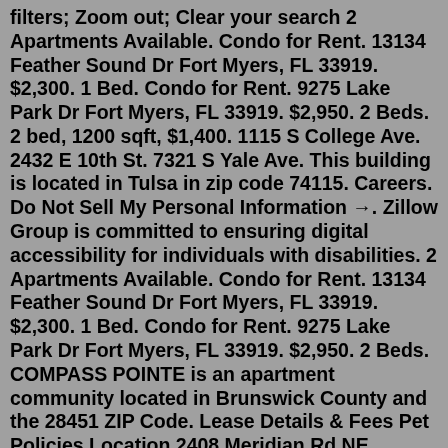filters; Zoom out; Clear your search 2 Apartments Available. Condo for Rent. 13134 Feather Sound Dr Fort Myers, FL 33919. $2,300. 1 Bed. Condo for Rent. 9275 Lake Park Dr Fort Myers, FL 33919. $2,950. 2 Beds. 2 bed, 1200 sqft, $1,400. 1115 S College Ave. 2432 E 10th St. 7321 S Yale Ave. This building is located in Tulsa in zip code 74115. Careers. Do Not Sell My Personal Information →. Zillow Group is committed to ensuring digital accessibility for individuals with disabilities. 2 Apartments Available. Condo for Rent. 13134 Feather Sound Dr Fort Myers, FL 33919. $2,300. 1 Bed. Condo for Rent. 9275 Lake Park Dr Fort Myers, FL 33919. $2,950. 2 Beds. COMPASS POINTE is an apartment community located in Brunswick County and the 28451 ZIP Code. Lease Details & Fees Pet Policies Location 2408 Meridian Rd NE , Leland , NC 28451 Get Directions This Property Available Property City - LelandCompass Pointe Apartments. 2210 Beech St. Valparaiso, Indiana 46383 (219) 209-6755. Hours. Monday - Friday: 9 Hours - 6 Hours...